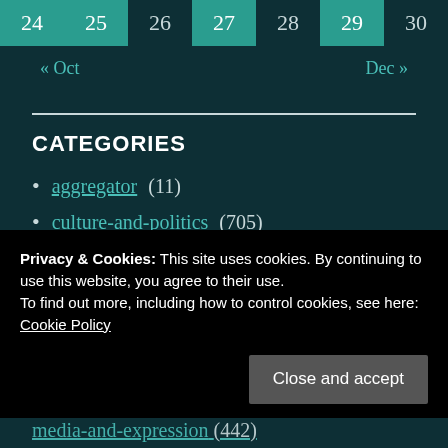| 24 | 25 | 26 | 27 | 28 | 29 | 30 |
| --- | --- | --- | --- | --- | --- | --- |
« Oct    Dec »
CATEGORIES
aggregator (11)
culture-and-politics (705)
design-and-ideas (612)
Privacy & Cookies: This site uses cookies. By continuing to use this website, you agree to their use. To find out more, including how to control cookies, see here: Cookie Policy
Close and accept
media-and-expression (442)